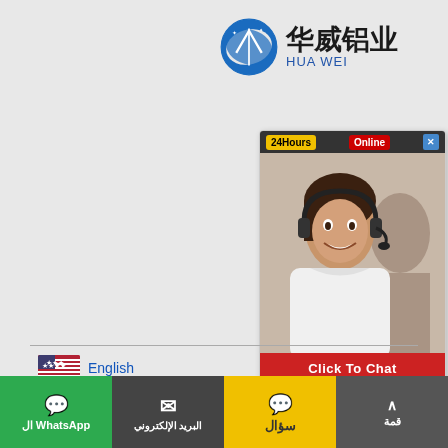[Figure (logo): Huawei Aluminum company logo with blue circular icon and Chinese/English text]
[Figure (photo): 24 Hours Online customer service chat widget with photo of smiling woman with headset and Click To Chat button]
English
العربية
বাংলা
Wikang Filipino
Deutsch
हिन्दी; हिंदी
Русский
ภาษาไทย
تحرير الترجمة
WhatsApp ال | البريد الإلكتروني | سؤال | قمة